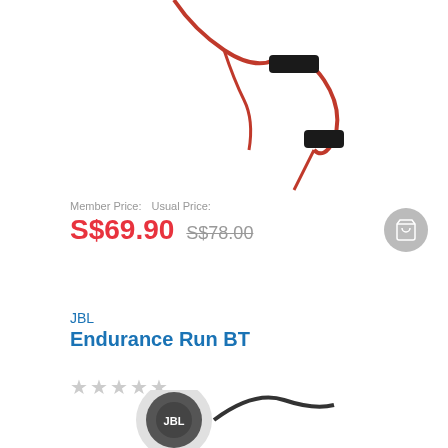[Figure (photo): JBL wireless earphones with red cable coiled, partially visible at top of page]
Member Price:  Usual Price:
S$69.90  S$78.00
[Figure (other): Gray circular add to cart button with shopping cart icon]
JBL
Endurance Run BT
[Figure (other): 5 empty/gray star rating icons]
[Figure (photo): JBL Endurance Run BT earphones in silver/black, partially visible at bottom of page]